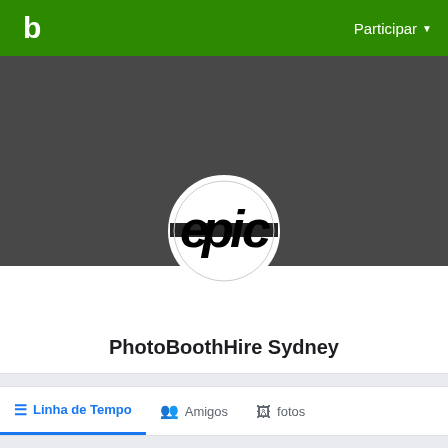b | Participar ▼
[Figure (screenshot): Dark grey cover photo area with circular profile avatar showing 'epic' logo (black text on white circle)]
PhotoBoothHire Sydney
Linha de Tempo | Amigos | fotos